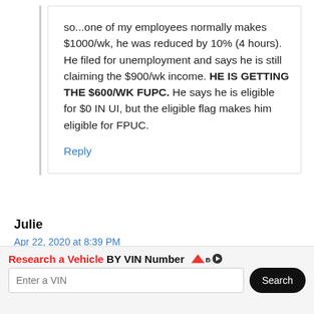so...one of my employees normally makes $1000/wk, he was reduced by 10% (4 hours). He filed for unemployment and says he is still claiming the $900/wk income. HE IS GETTING THE $600/WK FUPC. He says he is eligible for $0 IN UI, but the eligible flag makes him eligible for FPUC.
Reply
Julie
Apr 22, 2020 at 8:39 PM
[Figure (other): Advertisement banner: 'Research a Vehicle BY VIN Number' with Bump logo, VIN input field, and Search button]